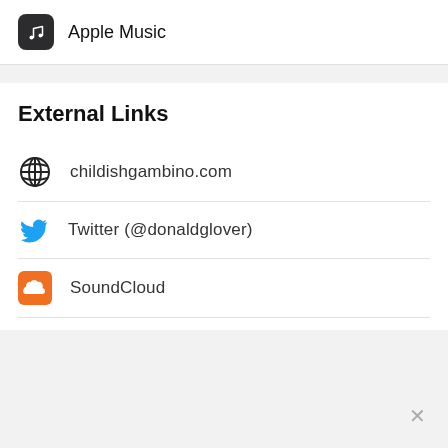Apple Music
External Links
childishgambino.com
Twitter (@donaldglover)
SoundCloud
Instagram